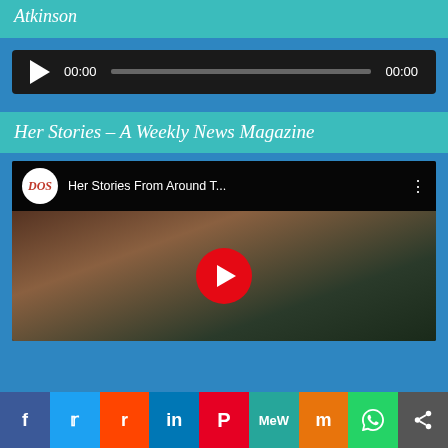Atkinson
[Figure (other): Audio player widget with play button, 00:00 timestamp, progress bar, and 00:00 end time on dark background]
Her Stories - A Weekly News Magazine
[Figure (other): YouTube video embed showing 'Her Stories From Around T...' with DOS logo, a woman wearing a crown, and a red play button overlay]
[Figure (other): Social sharing bar with buttons for Facebook, Twitter, Reddit, LinkedIn, Pinterest, MeWe, Mix, WhatsApp, and Share]